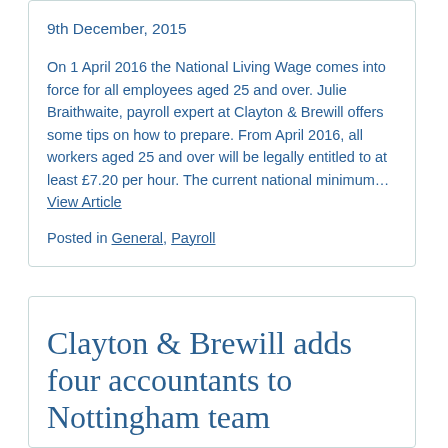On 1 April 2016 the National Living Wage comes into force for all employees aged 25 and over. Julie Braithwaite, payroll expert at Clayton & Brewill offers some tips on how to prepare. From April 2016, all workers aged 25 and over will be legally entitled to at least £7.20 per hour. The current national minimum… View Article
Posted in General, Payroll
Clayton & Brewill adds four accountants to Nottingham team